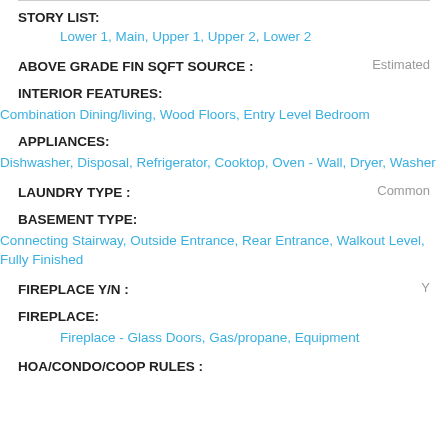STORY LIST:
Lower 1, Main, Upper 1, Upper 2, Lower 2
ABOVE GRADE FIN SQFT SOURCE : Estimated
INTERIOR FEATURES:
Combination Dining/living, Wood Floors, Entry Level Bedroom
APPLIANCES:
Dishwasher, Disposal, Refrigerator, Cooktop, Oven - Wall, Dryer, Washer
LAUNDRY TYPE : Common
BASEMENT TYPE:
Connecting Stairway, Outside Entrance, Rear Entrance, Walkout Level, Fully Finished
FIREPLACE Y/N : Y
FIREPLACE:
Fireplace - Glass Doors, Gas/propane, Equipment
HOA/CONDO/COOP RULES :